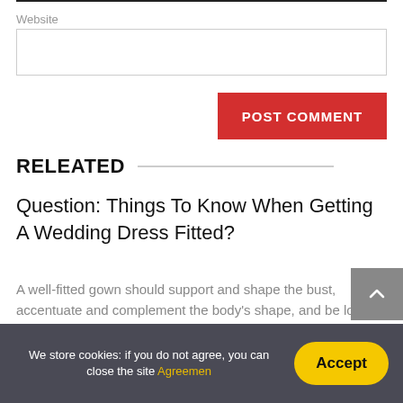Website
RELEATED
Question: Things To Know When Getting A Wedding Dress Fitted?
A well-fitted gown should support and shape the bust, accentuate and complement the body's shape, and be long enough to cover the shoes, but not too long that the skirt becomes a tripping hazard. While wedding dress shopping, be mindful of alterations you may need and
We store cookies: if you do not agree, you can close the site Agreemen
Accept